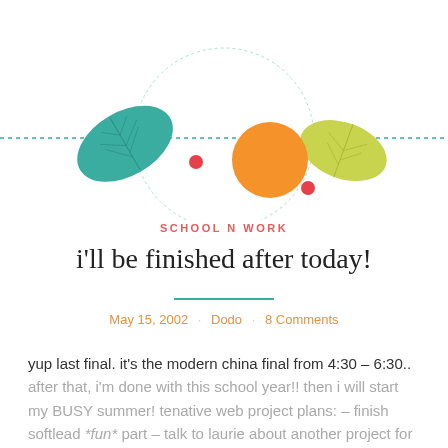[Figure (illustration): Decorative blog header illustration with a teal dashed horizontal line, a large teal leaf on the left, a yellow-green leaf on the right, a large orange circle in the center, two small pink/red dots, and a light teal circular arc outline. The illustration is cropped so only the lower portion is visible.]
SCHOOL N WORK
i'll be finished after today!
May 15, 2002 · Dodo · 8 Comments
yup last final. it's the modern china final from 4:30 – 6:30.. after that, i'm done with this school year!! then i will start my BUSY summer! tenative web project plans: – finish softlead *fun* part – talk to laurie about another project for her…